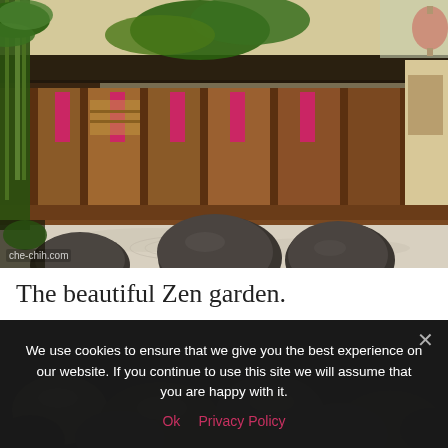[Figure (photo): A traditional Asian (likely Vietnamese or Chinese) building with dark wood construction, thatched roof, pink lanterns and banners, surrounded by tall bamboo trees. In the foreground is a Zen garden with raked white gravel and three large dark rounded boulders. A watermark reads 'che-chih.com'.]
The beautiful Zen garden.
We use cookies to ensure that we give you the best experience on our website. If you continue to use this site we will assume that you are happy with it.
Ok  Privacy Policy